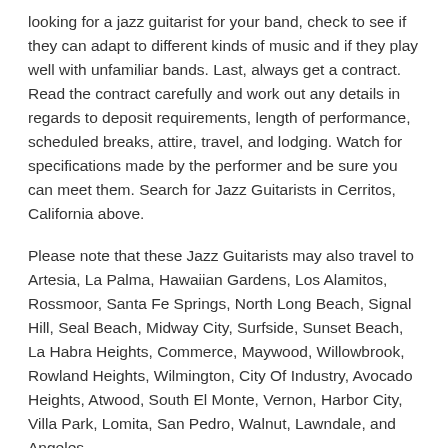looking for a jazz guitarist for your band, check to see if they can adapt to different kinds of music and if they play well with unfamiliar bands. Last, always get a contract. Read the contract carefully and work out any details in regards to deposit requirements, length of performance, scheduled breaks, attire, travel, and lodging. Watch for specifications made by the performer and be sure you can meet them. Search for Jazz Guitarists in Cerritos, California above.
Please note that these Jazz Guitarists may also travel to Artesia, La Palma, Hawaiian Gardens, Los Alamitos, Rossmoor, Santa Fe Springs, North Long Beach, Signal Hill, Seal Beach, Midway City, Surfside, Sunset Beach, La Habra Heights, Commerce, Maywood, Willowbrook, Rowland Heights, Wilmington, City Of Industry, Avocado Heights, Atwood, South El Monte, Vernon, Harbor City, Villa Park, Lomita, San Pedro, Walnut, Lawndale, and Angeles.
Find Jazz Guitarists in nearby cities